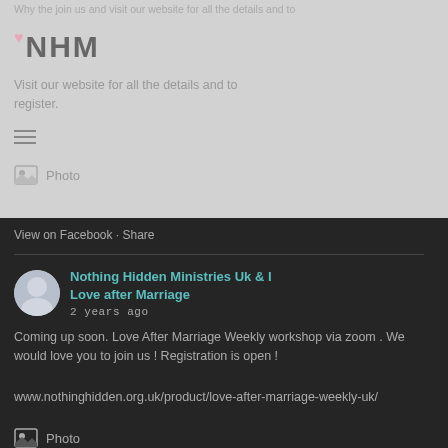[Figure (screenshot): Top light gray section of a Facebook page plugin showing a faded post text, NHM logo with heart icon, 'Visit our website for all the details and to register' text, hamburger menu icon, and a Photo attachment button]
View on Facebook · Share
Nothing Hidden Ministries Uk & I Love after Marriage
2 years ago
Coming up soon. Love After Marriage Weekly workshop via zoom . We would love you to join us ! Registration is open !
www.nothinghidden.org.uk/product/love-after-marriage-weekly-uk/
Photo
View on Facebook · Share
Privacy & Cookies Policy